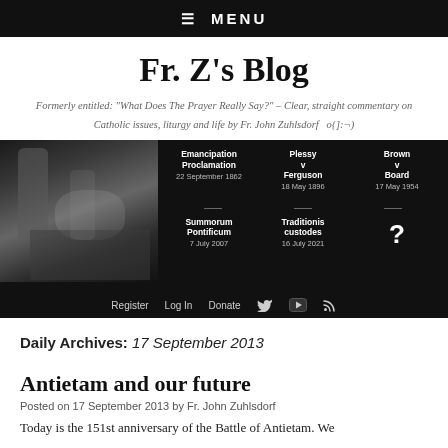☰  MENU
Fr. Z's Blog
Formerly entitled: "What Does The Prayer Really Say?" – Clear, straight commentary on Catholic issues, liturgy and life by Fr. John Zuhlsdorf   o{]:¬)
[Figure (infographic): Blog banner with black and white historical photo on left and timeline of events on right: Emancipation Proclamation 22 September 1862, Plessy v Ferguson 18 May 1896, Brown v Board 17 May 1954, Summorum Pontificum 7 July 2007, Traditionis custodes 16 July 2021, and a question mark. Below: Register, Log In, Donate links and social icons.]
Daily Archives: 17 September 2013
Antietam and our future
Posted on 17 September 2013 by Fr. John Zuhlsdorf
Today is the 151st anniversary of the Battle of Antietam. We...